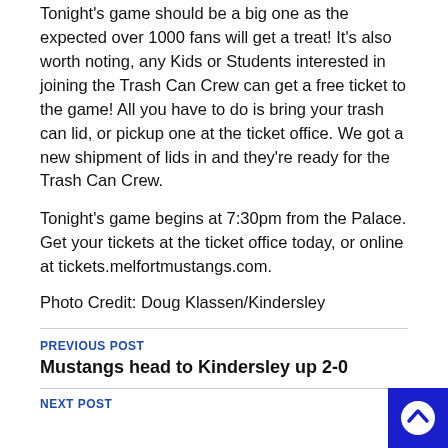Tonight's game should be a big one as the expected over 1000 fans will get a treat! It's also worth noting, any Kids or Students interested in joining the Trash Can Crew can get a free ticket to the game! All you have to do is bring your trash can lid, or pickup one at the ticket office. We got a new shipment of lids in and they're ready for the Trash Can Crew.
Tonight's game begins at 7:30pm from the Palace. Get your tickets at the ticket office today, or online at tickets.melfortmustangs.com.
Photo Credit: Doug Klassen/Kindersley
PREVIOUS POST
Mustangs head to Kindersley up 2-0
NEXT POST